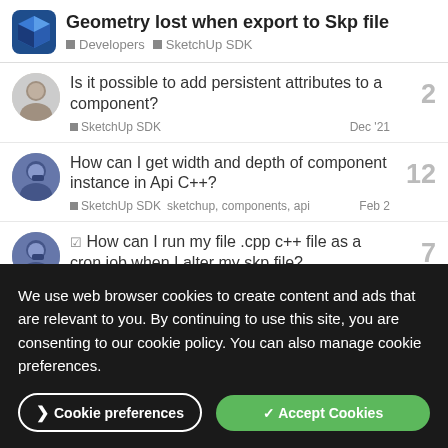Geometry lost when export to Skp file — Developers · SketchUp SDK
Is it possible to add persistent attributes to a component? — SketchUp SDK — Dec '21 — 2 replies
How can I get width and depth of component instance in Api C++? — SketchUp SDK, sketchup, components, api — Feb 2 — 12 replies
How can I run my file .cpp c++ file as a cron job when I alter my skp file? — SketchUp SDK, sketchup, components, — Feb 16 — 7 replies
We use web browser cookies to create content and ads that are relevant to you. By continuing to use this site, you are consenting to our cookie policy. You can also manage cookie preferences.